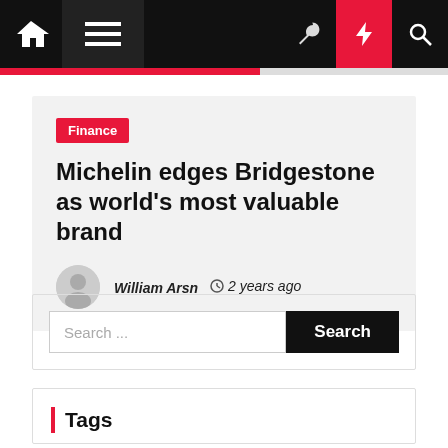Navigation bar with home, menu, dark mode, lightning, and search icons
Finance
Michelin edges Bridgestone as world's most valuable brand
William Arsn  2 years ago
Search ...
Tags